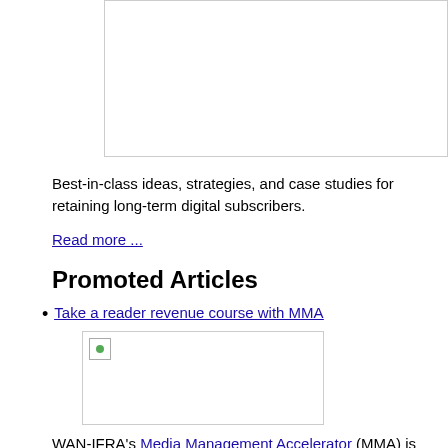[Figure (photo): Image placeholder at top of page]
Best-in-class ideas, strategies, and case studies for retaining long-term digital subscribers.
Read more ...
Promoted Articles
Take a reader revenue course with MMA
[Figure (photo): Article image placeholder]
WAN-IFRA's Media Management Accelerator (MMA) is an